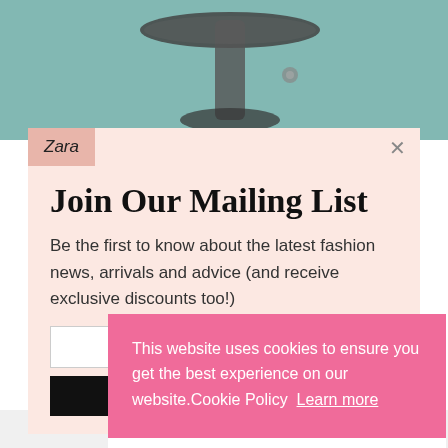[Figure (photo): Background photo showing a desk with teal/gray surface and a circular object (stand or device) in dark metal]
Zara
Join Our Mailing List
Be the first to know about the latest fashion news, arrivals and advice (and receive exclusive discounts too!)
This website uses cookies to ensure you get the best experience on our website.Cookie Policy  Learn more
Got it
TimeBucks g